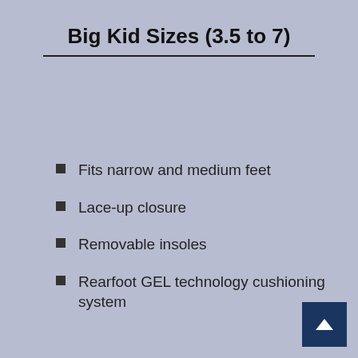Big Kid Sizes (3.5 to 7)
Fits narrow and medium feet
Lace-up closure
Removable insoles
Rearfoot GEL technology cushioning system